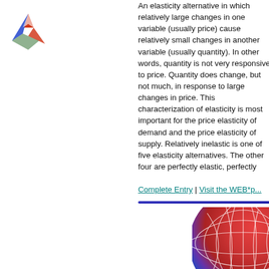[Figure (logo): Stylized star/asterisk logo in red, blue, and green colors]
An elasticity alternative in which relatively large changes in one variable (usually price) cause relatively small changes in another variable (usually quantity). In other words, quantity is not very responsive to price. Quantity does change, but not much, in response to large changes in price. This characterization of elasticity is most important for the price elasticity of demand and the price elasticity of supply. Relatively inelastic is one of five elasticity alternatives. The other four are perfectly elastic, perfectly
Complete Entry | Visit the WEB*p...
[Figure (illustration): Partial globe image with red-to-blue gradient and white grid lines, showing curved latitude/longitude lines]